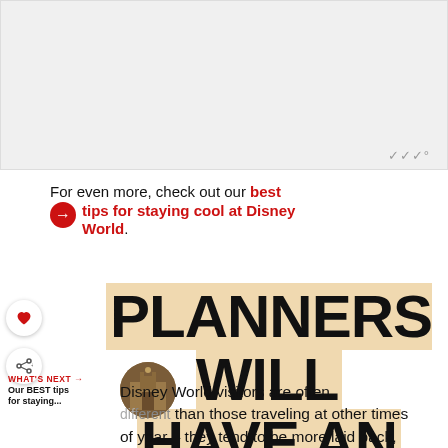[Figure (photo): Top image placeholder, light gray background]
For even more, check out our best tips for staying cool at Disney World.
PLANNERS WILL HAVE AN ADVANTAGE
Disney World visitors are often different than those traveling at other times of year – they tend to be more laid back,